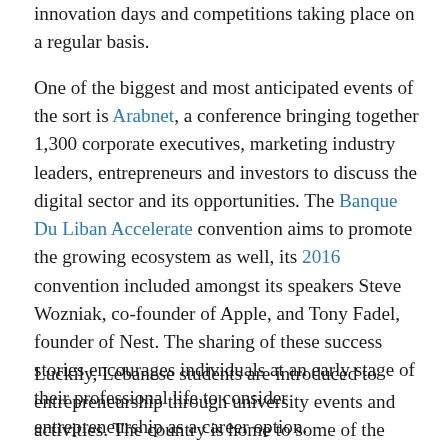innovation days and competitions taking place on a regular basis.
One of the biggest and most anticipated events of the sort is Arabnet, a conference bringing together 1,300 corporate executives, marketing industry leaders, entrepreneurs and investors to discuss the digital sector and its opportunities. The Banque Du Liban Accelerate convention aims to promote the growing ecosystem as well, its 2016 convention included amongst its speakers Steve Wozniak, co-founder of Apple, and Tony Fadel, founder of Nest. The sharing of these success stories encourages individuals at an early stage of their professional life to consider entrepreneurship as a career option.
Luckily, Lebanese students are introduced to entrepreneurship through university events and activities. The country is home to some of the best